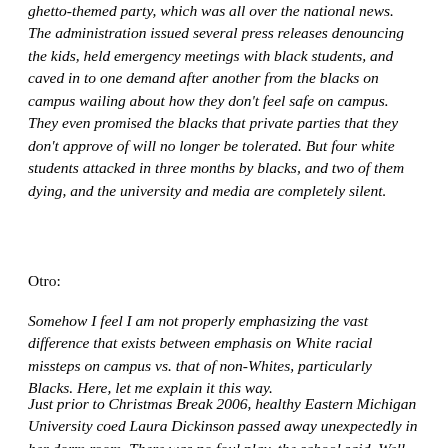ghetto-themed party, which was all over the national news. The administration issued several press releases denouncing the kids, held emergency meetings with black students, and caved in to one demand after another from the blacks on campus wailing about how they don't feel safe on campus. They even promised the blacks that private parties that they don't approve of will no longer be tolerated. But four white students attacked in three months by blacks, and two of them dying, and the university and media are completely silent.
Otro:
Somehow I feel I am not properly emphasizing the vast difference that exists between emphasis on White racial missteps on campus vs. that of non-Whites, particularly Blacks. Here, let me explain it this way.
Just prior to Christmas Break 2006, healthy Eastern Michigan University coed Laura Dickinson passed away unexpectedly in her dorm room. There was no foul play, the school said. Well,